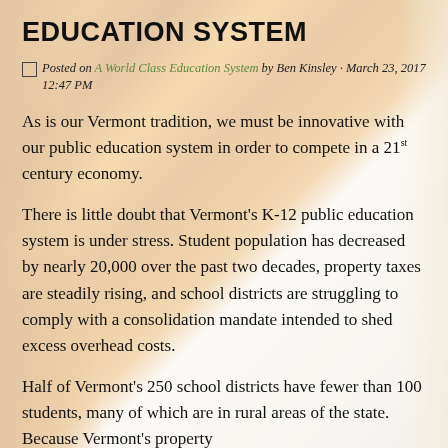EDUCATION SYSTEM
Posted on A World Class Education System by Ben Kinsley · March 23, 2017 12:47 PM
As is our Vermont tradition, we must be innovative with our public education system in order to compete in a 21st century economy.
There is little doubt that Vermont's K-12 public education system is under stress. Student population has decreased by nearly 20,000 over the past two decades, property taxes are steadily rising, and school districts are struggling to comply with a consolidation mandate intended to shed excess overhead costs.
Half of Vermont's 250 school districts have fewer than 100 students, many of which are in rural areas of the state. Because Vermont's property